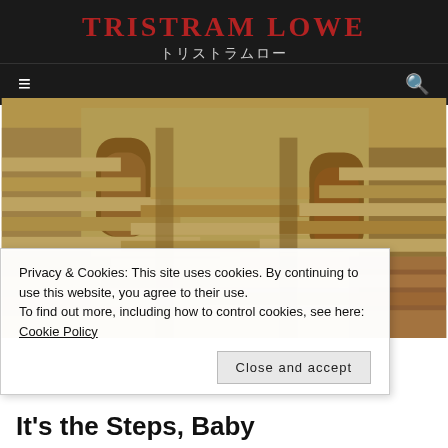TRISTRAM LOWE
トリストラムロー
[Figure (photo): Photograph of an ornate Indian stepwell (baoli) with geometric stone stairs arranged in symmetric patterns, yellowish stone walls with arched niches, seen from above at an angle.]
Privacy & Cookies: This site uses cookies. By continuing to use this website, you agree to their use.
To find out more, including how to control cookies, see here: Cookie Policy
It's the Steps, Baby